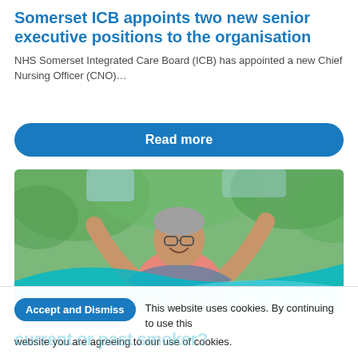Somerset ICB appoints two new senior executive positions to the organisation
NHS Somerset Integrated Care Board (ICB) has appointed a new Chief Nursing Officer (CNO)…
Read more
[Figure (photo): An older man wearing a pink polo shirt and a denim jacket over his shoulders, smiling broadly with both arms raised joyfully, outdoors with green trees in background. A light blue wave graphic overlays the bottom portion of the image.]
Accept and Dismiss   This website uses cookies. By continuing to use this website you are agreeing to our use of cookies.